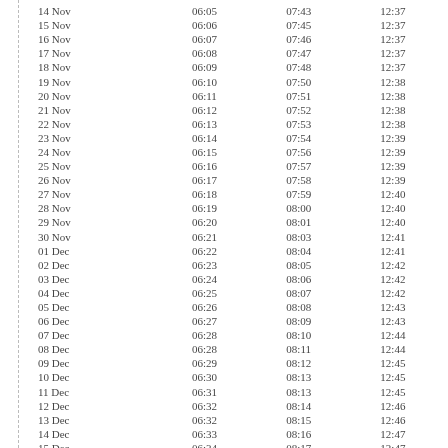| 14 Nov | 06:05 | 07:43 | 12:37 |
| 15 Nov | 06:06 | 07:45 | 12:37 |
| 16 Nov | 06:07 | 07:46 | 12:37 |
| 17 Nov | 06:08 | 07:47 | 12:37 |
| 18 Nov | 06:09 | 07:48 | 12:37 |
| 19 Nov | 06:10 | 07:50 | 12:38 |
| 20 Nov | 06:11 | 07:51 | 12:38 |
| 21 Nov | 06:12 | 07:52 | 12:38 |
| 22 Nov | 06:13 | 07:53 | 12:38 |
| 23 Nov | 06:14 | 07:54 | 12:39 |
| 24 Nov | 06:15 | 07:56 | 12:39 |
| 25 Nov | 06:16 | 07:57 | 12:39 |
| 26 Nov | 06:17 | 07:58 | 12:39 |
| 27 Nov | 06:18 | 07:59 | 12:40 |
| 28 Nov | 06:19 | 08:00 | 12:40 |
| 29 Nov | 06:20 | 08:01 | 12:40 |
| 30 Nov | 06:21 | 08:03 | 12:41 |
| 01 Dec | 06:22 | 08:04 | 12:41 |
| 02 Dec | 06:23 | 08:05 | 12:42 |
| 03 Dec | 06:24 | 08:06 | 12:42 |
| 04 Dec | 06:25 | 08:07 | 12:42 |
| 05 Dec | 06:26 | 08:08 | 12:43 |
| 06 Dec | 06:27 | 08:09 | 12:43 |
| 07 Dec | 06:28 | 08:10 | 12:44 |
| 08 Dec | 06:28 | 08:11 | 12:44 |
| 09 Dec | 06:29 | 08:12 | 12:45 |
| 10 Dec | 06:30 | 08:13 | 12:45 |
| 11 Dec | 06:31 | 08:13 | 12:45 |
| 12 Dec | 06:32 | 08:14 | 12:46 |
| 13 Dec | 06:32 | 08:15 | 12:46 |
| 14 Dec | 06:33 | 08:16 | 12:47 |
| 15 Dec | 06:34 | 08:17 | 12:47 |